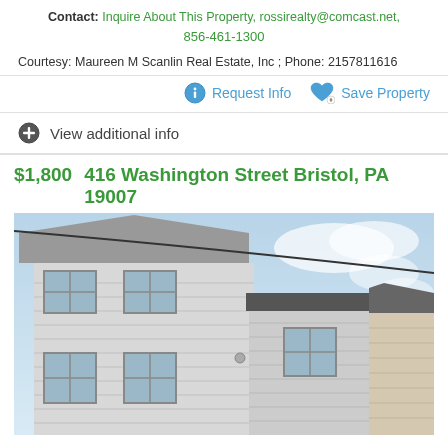Contact: Inquire About This Property, rossirealty@comcast.net, 856-461-1300
Courtesy: Maureen M Scanlin Real Estate, Inc ; Phone: 2157811616
Request Info  Save Property
View additional info
$1,800  416 Washington Street Bristol, PA 19007
[Figure (photo): Exterior photo of a white multi-story house with siding, multiple windows, and a dark roof, taken from below looking up, with a partly cloudy blue sky in the background.]